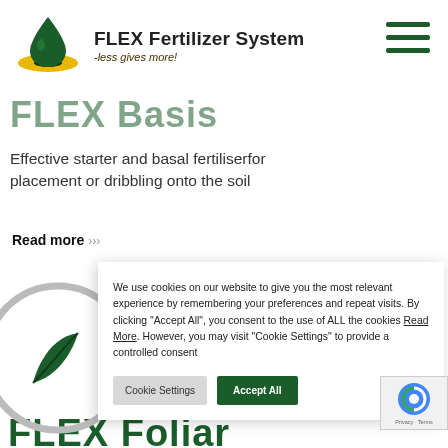[Figure (logo): FLEX Fertilizer System logo: green droplet above a yellow disc/plate, with text 'FLEX Fertilizer System -less gives more!']
FLEX Basis
Effective starter and basal fertiliserfor placement or dribbling onto the soil
Read more ›››
We use cookies on our website to give you the most relevant experience by remembering your preferences and repeat visits. By clicking "Accept All", you consent to the use of ALL the cookies Read More. However, you may visit "Cookie Settings" to provide a controlled consent
FLEX Foliar